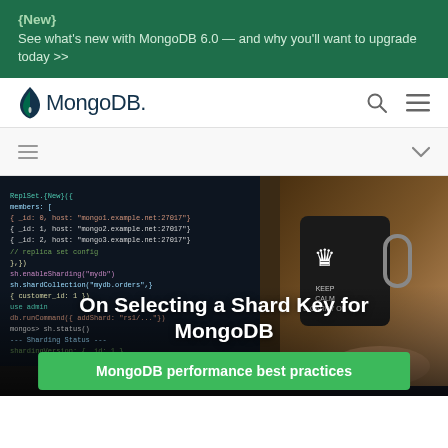{New} See what's new with MongoDB 6.0 — and why you'll want to upgrade today >>
[Figure (logo): MongoDB leaf logo and wordmark]
On Selecting a Shard Key for MongoDB
MongoDB performance best practices